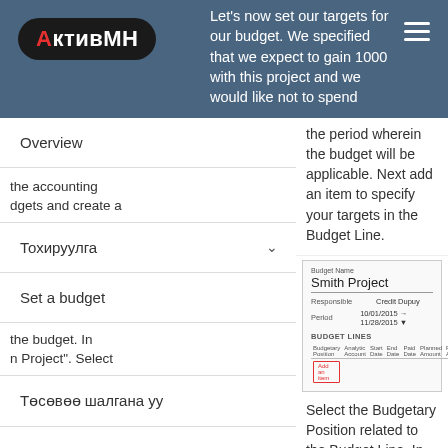АктивМН | Let's now set our targets for our budget. We specified that we expect to gain 1000 with this project and we would like not to spend
Overview
the accounting dgets and create a
Тохируулга
Set a budget
the budget. In n Project". Select
Төсөвөө шалгана уу
the period wherein the budget will be applicable. Next add an item to specify your targets in the Budget Line.
[Figure (screenshot): Screenshot of a budget form showing Budget Name: Smith Project, Responsible: Credit Dupuy, Period: 10/01/2015 to 11/28/2015, with a Budget Lines table and an Add an item button highlighted in red.]
Select the Budgetary Position related to the Budget Line. In other words, select the